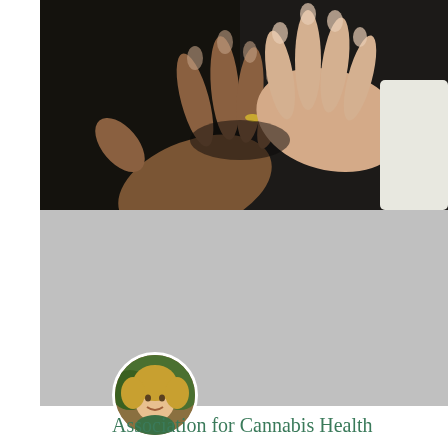[Figure (photo): Close-up photo of two people holding hands, showing interlocked fingers with painted nails, dark background, warm skin tones]
[Figure (photo): Gray banner/placeholder area, partially covered by a circular avatar photo of a smiling woman with curly blonde hair wearing a green top]
Association for Cannabis Health